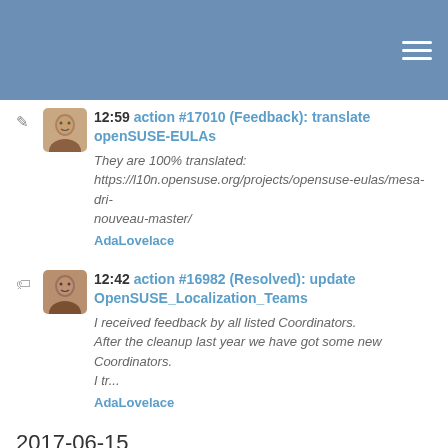12:59 action #17010 (Feedback): translate openSUSE-EULAs
They are 100% translated:
https://l10n.opensuse.org/projects/opensuse-eulas/mesa-dri-nouveau-master/
AdaLovelace
12:42 action #16982 (Resolved): update OpenSUSE_Localization_Teams
I received feedback by all listed Coordinators.
After the cleanup last year we have got some new Coordinators. I tr...
AdaLovelace
2017-06-15
05:21 action #16594: review and potentially submit sle candidates
Anything else to be done?
boombatower